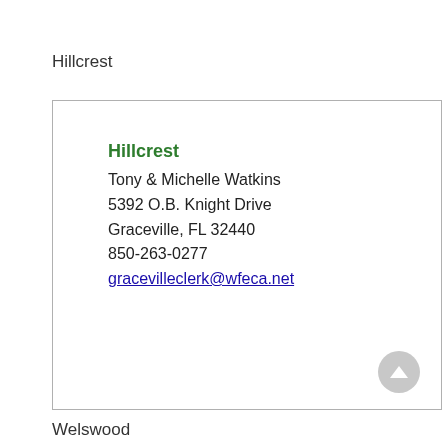Hillcrest
Hillcrest
Tony & Michelle Watkins
5392 O.B. Knight Drive
Graceville, FL 32440
850-263-0277
gracevilleclerk@wfeca.net
Welswood